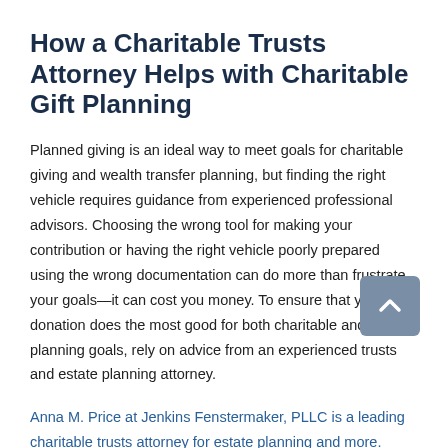How a Charitable Trusts Attorney Helps with Charitable Gift Planning
Planned giving is an ideal way to meet goals for charitable giving and wealth transfer planning, but finding the right vehicle requires guidance from experienced professional advisors. Choosing the wrong tool for making your contribution or having the right vehicle poorly prepared using the wrong documentation can do more than frustrate your goals—it can cost you money. To ensure that your donation does the most good for both charitable and estate planning goals, rely on advice from an experienced trusts and estate planning attorney.
Anna M. Price at Jenkins Fenstermaker, PLLC is a leading charitable trusts attorney for estate planning and more.